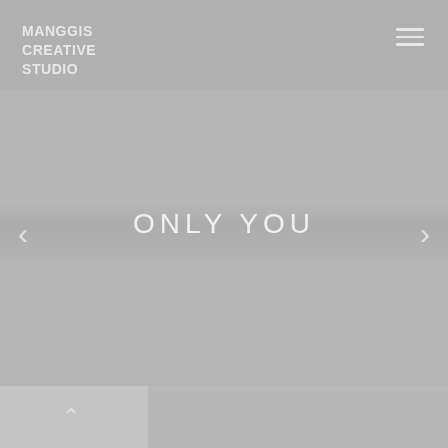MANGGIS CREATIVE STUDIO
ONLY YOU
[Figure (screenshot): Website screenshot of Manggis Creative Studio showing a slideshow with the text ONLY YOU, navigation arrows on left and right, a hamburger menu icon in the top right, and a bottom navigation panel with an up arrow.]